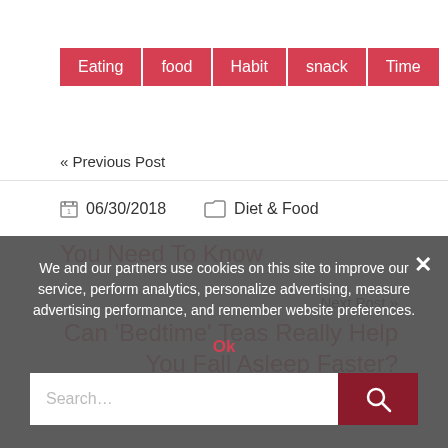Eating
food
Habit
snack
Time
« Previous Post
Kylie Jenner Says She's Trying Out A New Diet—Here's What You Need To Know
Next Post »
Can 'Bedtime' Teas Really Help You Fall Asleep Faster?
06/30/2018   Diet & Food
We and our partners use cookies on this site to improve our service, perform analytics, personalize advertising, measure advertising performance, and remember website preferences.
Ok